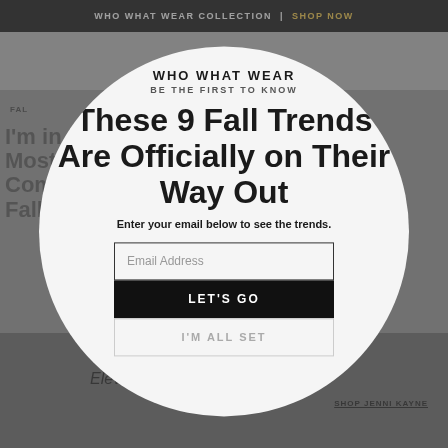WHO WHAT WEAR COLLECTION | SHOP NOW
WHO WHAT WEAR
BE THE FIRST TO KNOW
These 9 Fall Trends Are Officially on Their Way Out
Enter your email below to see the trends.
Email Address
LET'S GO
I'M ALL SET